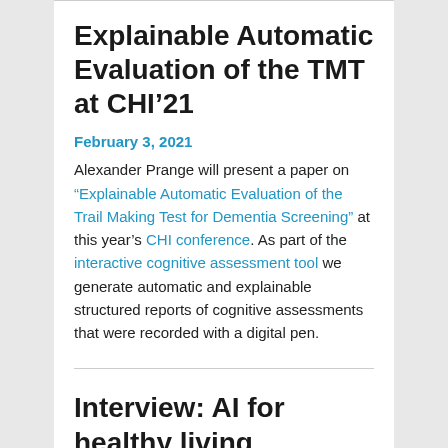Explainable Automatic Evaluation of the TMT at CHI’21
February 3, 2021
Alexander Prange will present a paper on “Explainable Automatic Evaluation of the Trail Making Test for Dementia Screening” at this year’s CHI conference. As part of the interactive cognitive assessment tool we generate automatic and explainable structured reports of cognitive assessments that were recorded with a digital pen.
Interview: AI for healthy living